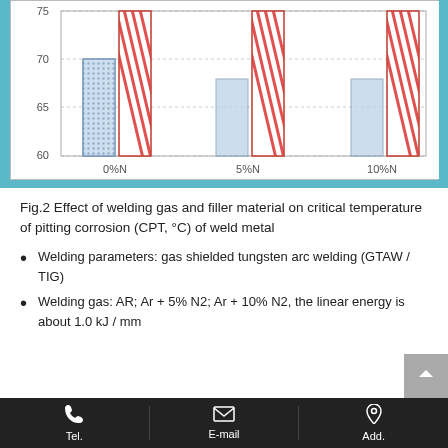[Figure (grouped-bar-chart): Effect of welding gas and filler material on CPT (°C)]
Fig.2 Effect of welding gas and filler material on critical temperature of pitting corrosion (CPT, °C) of weld metal
Welding parameters: gas shielded tungsten arc welding (GTAW / TIG)
Welding gas: AR; Ar + 5% N2; Ar + 10% N2, the linear energy is about 1.0 kJ / mm
Tel.  E-mail  Add.